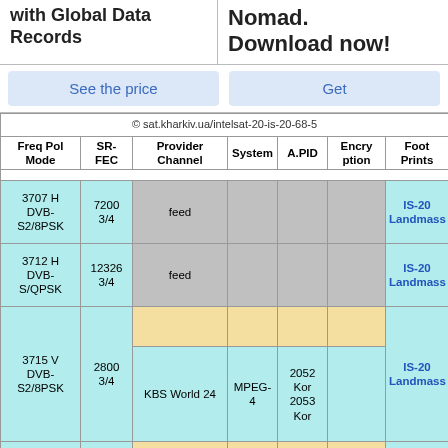with Global Data Records
Nomad. Download now!
See the price
Get
| Freq Pol Mode | SR-FEC | Provider Channel | System | A.PID | Encryption | Foot Prints |
| --- | --- | --- | --- | --- | --- | --- |
| © sat.kharkiv.ua/intelsat-20-is-20-68-5 |  |  |  |  |  |  |
| 3707 H DVB-S2/8PSK | 7200 3/4 | feed |  |  |  | IS-20 Landmass |
| 3712 H DVB-S/QPSK | 12326 3/4 | feed |  |  |  | IS-20 Landmass |
| 3715 V DVB-S2/8PSK | 2800 3/4 |  |  |  |  |  |
|  |  | KBS World 24 | MPEG-4 | 2052 Kor 2053 Kor |  | IS-20 Landmass |
|  |  | Indiasign |  |  |  |  |
|  |  | TV9 Telugu | MPEG-4 | 301 Tel |  |  |
|  |  |  | MPEG- | 302 |  |  |